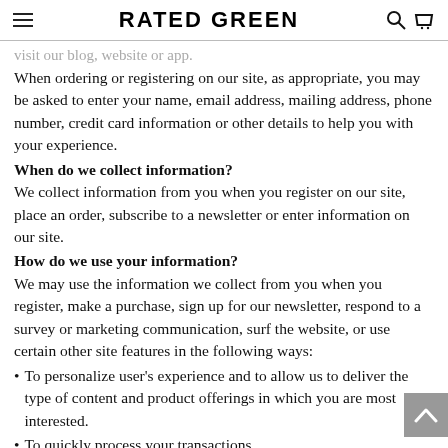RATED GREEN
visit our blog, website or app.
When ordering or registering on our site, as appropriate, you may be asked to enter your name, email address, mailing address, phone number, credit card information or other details to help you with your experience.
When do we collect information?
We collect information from you when you register on our site, place an order, subscribe to a newsletter or enter information on our site.
How do we use your information?
We may use the information we collect from you when you register, make a purchase, sign up for our newsletter, respond to a survey or marketing communication, surf the website, or use certain other site features in the following ways:
To personalize user's experience and to allow us to deliver the type of content and product offerings in which you are most interested.
To quickly process your transactions.